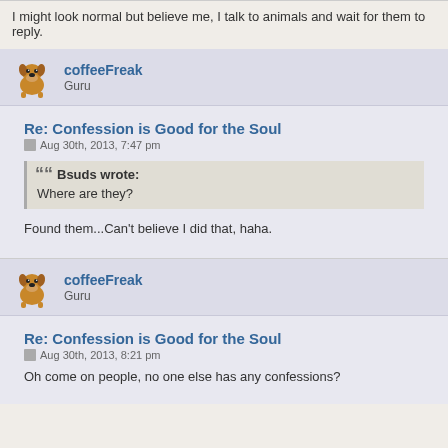I might look normal but believe me, I talk to animals and wait for them to reply.
coffeeFreak
Guru
Re: Confession is Good for the Soul
Aug 30th, 2013, 7:47 pm
Bsuds wrote:
Where are they?
Found them...Can't believe I did that, haha.
coffeeFreak
Guru
Re: Confession is Good for the Soul
Aug 30th, 2013, 8:21 pm
Oh come on people, no one else has any confessions?